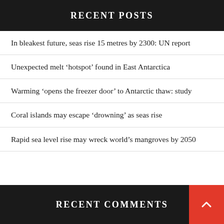RECENT POSTS
In bleakest future, seas rise 15 metres by 2300: UN report
Unexpected melt ‘hotspot’ found in East Antarctica
Warming ‘opens the freezer door’ to Antarctic thaw: study
Coral islands may escape ‘drowning’ as seas rise
Rapid sea level rise may wreck world’s mangroves by 2050
RECENT COMMENTS